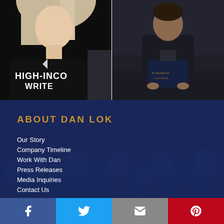[Figure (photo): Two photos side by side: left shows a woman with blonde hair wearing a black shirt with 'HIGH-INCOME WRITER' text; right shows a person in a dark suit holding a dark folder/book while seated.]
ABOUT DAN LOK
Our Story
Company Timeline
Work With Dan
Press Releases
Media Inquiries
Contact Us
SHOP
[Figure (infographic): Social share bar with four buttons: Facebook (blue), Twitter (light blue), Email (gray), Pinterest (red)]